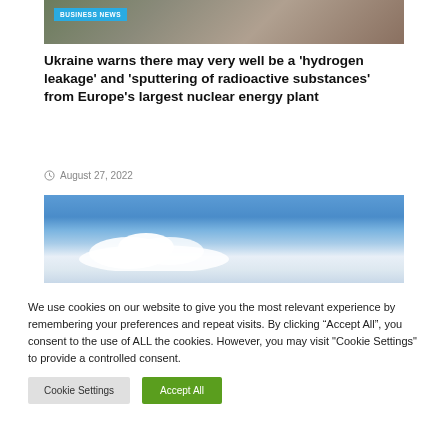[Figure (photo): Partial top image showing military/camouflage scene with Business News badge overlay]
Ukraine warns there may very well be a ‘hydrogen leakage’ and ‘sputtering of radioactive substances’ from Europe’s largest nuclear energy plant
August 27, 2022
[Figure (photo): Blue sky with white clouds photograph]
We use cookies on our website to give you the most relevant experience by remembering your preferences and repeat visits. By clicking “Accept All”, you consent to the use of ALL the cookies. However, you may visit "Cookie Settings" to provide a controlled consent.